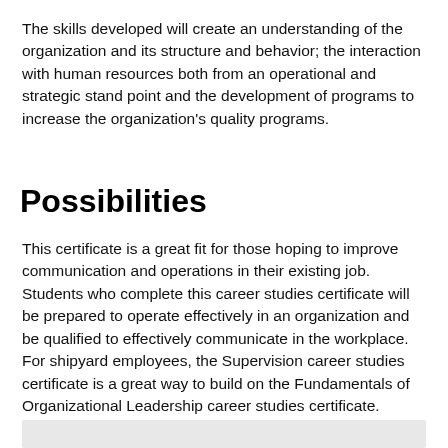The skills developed will create an understanding of the organization and its structure and behavior; the interaction with human resources both from an operational and strategic stand point and the development of programs to increase the organization's quality programs.
Possibilities
This certificate is a great fit for those hoping to improve communication and operations in their existing job. Students who complete this career studies certificate will be prepared to operate effectively in an organization and be qualified to effectively communicate in the workplace. For shipyard employees, the Supervision career studies certificate is a great way to build on the Fundamentals of Organizational Leadership career studies certificate.